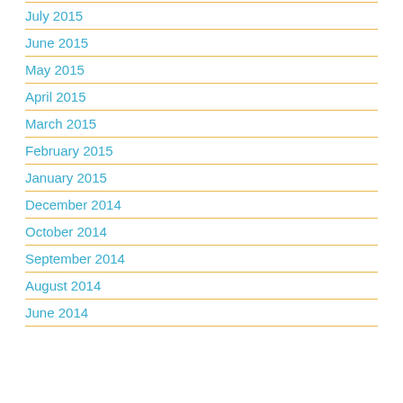July 2015
June 2015
May 2015
April 2015
March 2015
February 2015
January 2015
December 2014
October 2014
September 2014
August 2014
June 2014